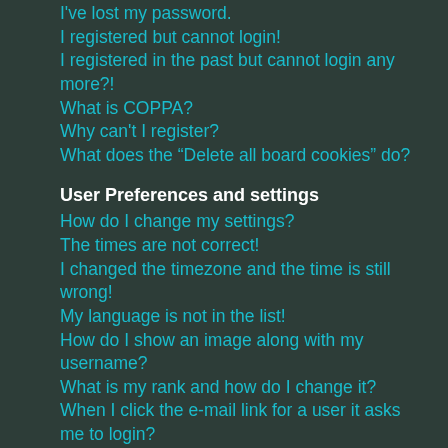I've lost my password.
I registered but cannot login!
I registered in the past but cannot login any more?!
What is COPPA?
Why can't I register?
What does the “Delete all board cookies” do?
User Preferences and settings
How do I change my settings?
The times are not correct!
I changed the timezone and the time is still wrong!
My language is not in the list!
How do I show an image along with my username?
What is my rank and how do I change it?
When I click the e-mail link for a user it asks me to login?
Posting Issues
How do I post a topic in a forum?
How do I edit or delete a post?
How do I add a signature to my post?
How do I create a poll?
Why can't I add more poll options?
How do I edit or delete a poll?